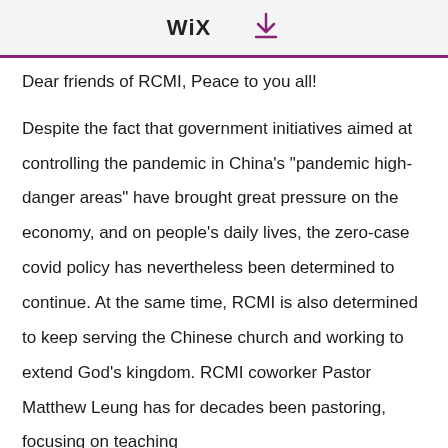WiX
Dear friends of RCMI, Peace to you all!
Despite the fact that government initiatives aimed at controlling the pandemic in China's "pandemic high-danger areas" have brought great pressure on the economy, and on people's daily lives, the zero-case covid policy has nevertheless been determined to continue. At the same time, RCMI is also determined to keep serving the Chinese church and working to extend God's kingdom. RCMI coworker Pastor Matthew Leung has for decades been pastoring, focusing on teaching